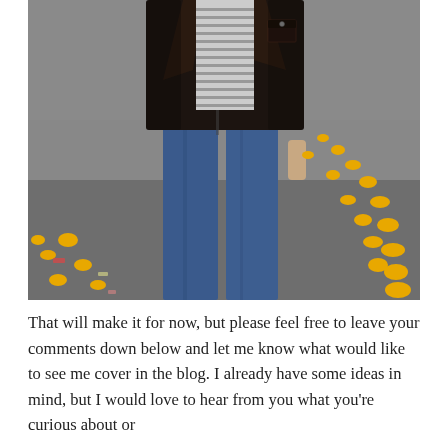[Figure (photo): A man standing on a street wearing blue jeans, a dark leather jacket open over a striped shirt, with yellow road studs/reflectors scattered on the grey asphalt in the background.]
That will make it for now, but please feel free to leave your comments down below and let me know what would like to see me cover in the blog. I already have some ideas in mind, but I would love to hear from you what you're curious about or